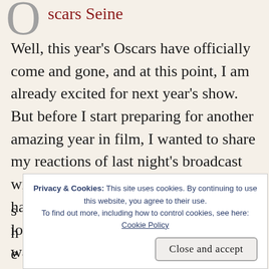scars Seine
Well, this year's Oscars have officially come and gone, and at this point, I am already excited for next year's show.  But before I start preparing for another amazing year in film, I wanted to share my reactions of last night's broadcast with all of you. The Academy Awards has been known in the past to be utterly long and boring.  Although the show was
Privacy & Cookies: This site uses cookies. By continuing to use this website, you agree to their use. To find out more, including how to control cookies, see here: Cookie Policy
Close and accept